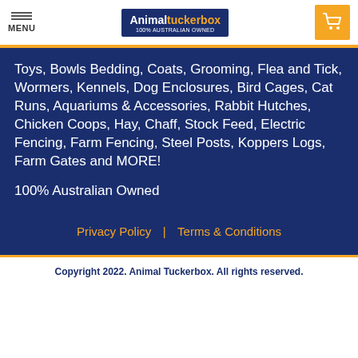MENU | Animal Tuckerbox logo | Cart
Toys, Bowls Bedding, Coats, Grooming, Flea and Tick, Wormers, Kennels, Dog Enclosures, Bird Cages, Cat Runs, Aquariums & Accessories, Rabbit Hutches, Chicken Coops, Hay, Chaff, Stock Feed, Electric Fencing, Farm Fencing, Steel Posts, Koppers Logs, Farm Gates and MORE!

100% Australian Owned
Privacy Policy | Terms & Conditions
Copyright 2022. Animal Tuckerbox. All rights reserved.